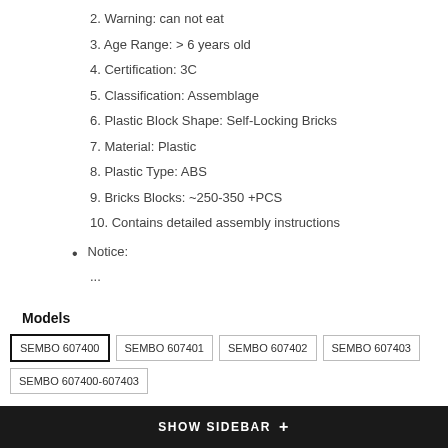2. Warning: can not eat
3. Age Range: > 6 years old
4. Certification: 3C
5. Classification: Assemblage
6. Plastic Block Shape: Self-Locking Bricks
7. Material: Plastic
8. Plastic Type: ABS
9. Bricks Blocks: ~250-350 +PCS
10. Contains detailed assembly instructions
Notice:
...
Models
SEMBO 607400  SEMBO 607401  SEMBO 607402  SEMBO 607403  SEMBO 607400-607403
SHOW SIDEBAR +